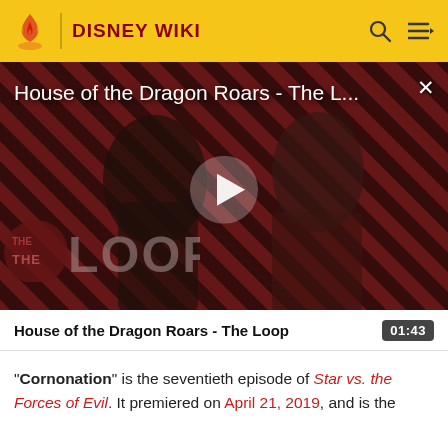DISNEY WIKI
[Figure (screenshot): Video thumbnail for 'House of the Dragon Roars - The Loop' showing two characters against a red and black diagonal stripe background with THE LOOP logo overlay and a play button in the center.]
House of the Dragon Roars - The Loop
01:43
"Cornonation" is the seventieth episode of Star vs. the Forces of Evil. It premiered on April 21, 2019, and is the